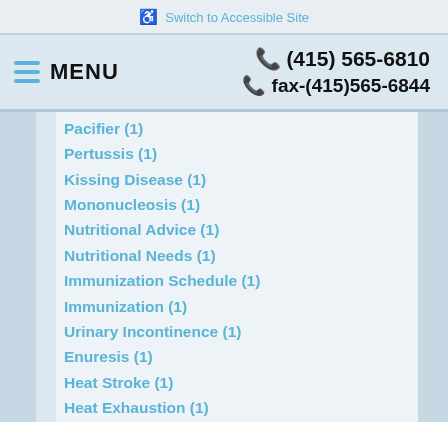Switch to Accessible Site
MENU   (415) 565-6810   fax-(415)565-6844
Pacifier (1)
Pertussis (1)
Kissing Disease (1)
Mononucleosis (1)
Nutritional Advice (1)
Nutritional Needs (1)
Immunization Schedule (1)
Immunization (1)
Urinary Incontinence (1)
Enuresis (1)
Heat Stroke (1)
Heat Exhaustion (1)
Vitamin D (1)
Vitamin D Deficiency (1)
Glasses (1)
Vision Screenings (1)